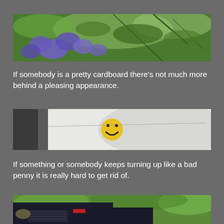[Figure (photo): Photograph of purple/blue flowers with green leaves and stems in natural outdoor setting]
If somebody is a pretty cardboard there's not much more behind a pleasing appearance.
[Figure (photo): Close-up photograph of a yellow smiley face sticker on a white cylindrical object, with a dark edge on the left side]
If something or somebody keeps turning up like a bad penny it is really hard to get rid of.
[Figure (photo): Partial photograph of a dark-colored car/vehicle front with greenery in the background]